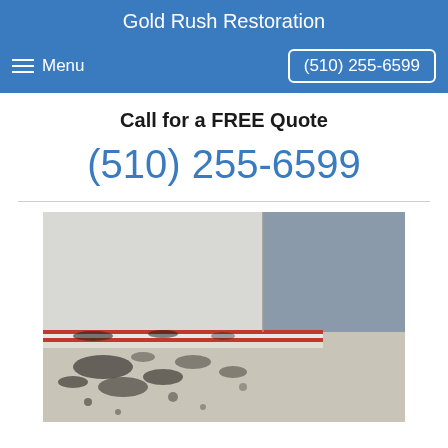Gold Rush Restoration
≡ Menu   (510) 255-6599
Call for a FREE Quote
(510) 255-6599
[Figure (photo): Photo of mold damage on a floor/corner area showing black mold stains along a baseboard with red and white stripes, against gray and white walls.]